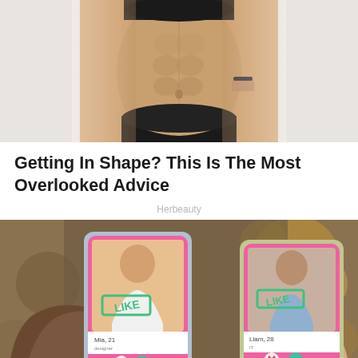[Figure (photo): Cropped photo of a fit woman's midsection showing toned abs, wearing a black sports bra and black underwear, standing in front of a white background]
Getting In Shape? This Is The Most Overlooked Advice
Herbeauty
[Figure (photo): Two hands holding smartphones displaying a dating app interface (similar to Tinder) with profile photos of a woman and a man, both showing 'LIKE' stamps, with X and heart buttons at the bottom, set against a blurred bokeh background]